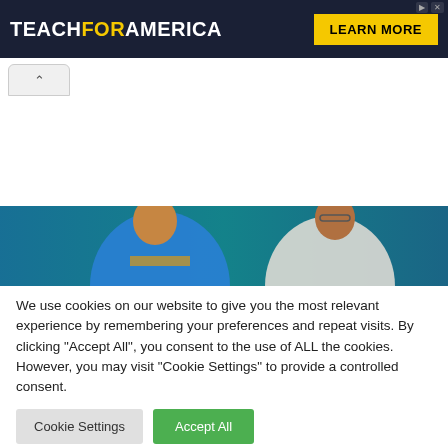[Figure (other): Teach For America advertisement banner with dark navy background, logo in white and yellow, and yellow 'LEARN MORE' button]
[Figure (photo): Photo of two people, one in blue traditional attire and one in white attire wearing glasses, smiling]
We use cookies on our website to give you the most relevant experience by remembering your preferences and repeat visits. By clicking "Accept All", you consent to the use of ALL the cookies. However, you may visit "Cookie Settings" to provide a controlled consent.
Cookie Settings
Accept All